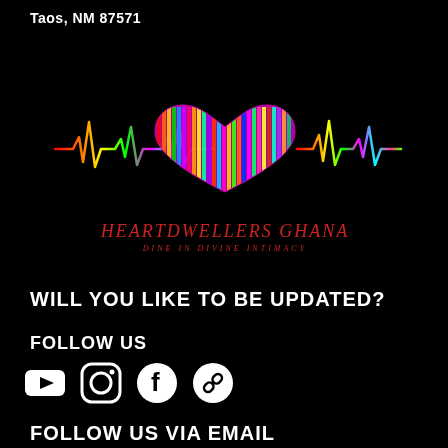Taos, NM 87571
[Figure (logo): Heartdwellers Ghana logo: colorful heartbeat/EKG line with a heart shape made of multicolored pixel dots in the center. Below reads 'HEARTDWELLERS GHANA' in red italic script, and subtitle 'DINE IN DIVINE INTIMACY' in small red letters.]
WILL YOU LIKE TO BE UPDATED?
FOLLOW US
[Figure (infographic): Four social media icons in white: YouTube, Instagram, Facebook, and a chain/link icon]
FOLLOW US VIA EMAIL